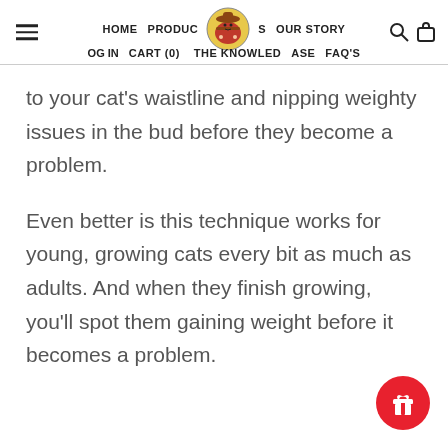HOME   PRODUCTS   OUR STORY   LOG IN   CART (0)   THE KNOWLEDGEBASE   FAQ'S
to your cat's waistline and nipping weighty issues in the bud before they become a problem.
Even better is this technique works for young, growing cats every bit as much as adults. And when they finish growing, you'll spot them gaining weight before it becomes a problem.